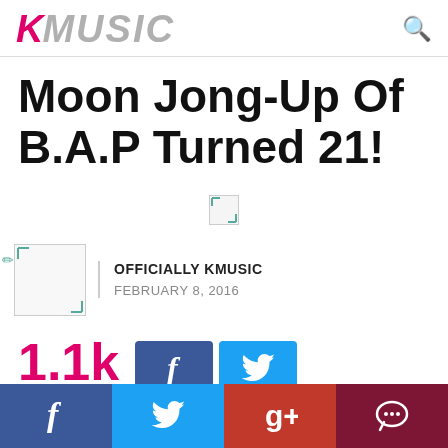KMUSIC
Moon Jong-Up Of B.A.P Turned 21!
[Figure (photo): Broken image placeholder in center of page]
OFFICIALLY KMUSIC
FEBRUARY 8, 2016
1.1k SHARES — Facebook and Twitter share buttons
[Figure (infographic): Bottom social share bar with Facebook, Twitter, Google+, and comment icons]